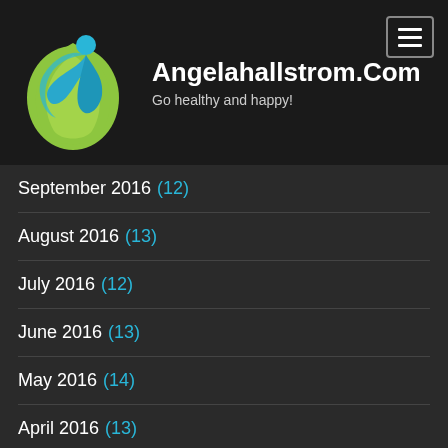[Figure (logo): Circular logo with a blue human figure and green leaf/droplet shape — Angelahallstrom.Com logo]
Angelahallstrom.Com
Go healthy and happy!
September 2016 (12)
August 2016 (13)
July 2016 (12)
June 2016 (13)
May 2016 (14)
April 2016 (13)
March 2016 (12)
February 2016 (13)
January 2016 (14)